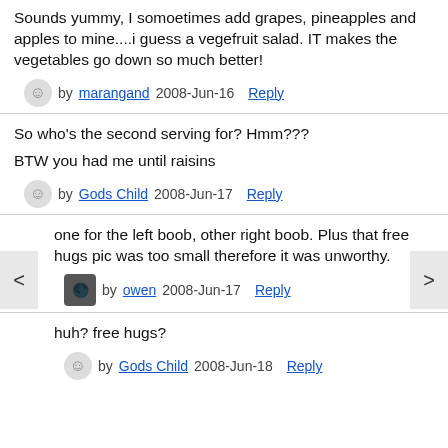Sounds yummy, I somoetimes add grapes, pineapples and apples to mine....i guess a vegefruit salad. IT makes the vegetables go down so much better!
by marangand 2008-Jun-16  Reply
So who's the second serving for? Hmm???
BTW you had me until raisins
by Gods Child 2008-Jun-17  Reply
one for the left boob, other right boob. Plus that free hugs pic was too small therefore it was unworthy.
by owen 2008-Jun-17  Reply
huh? free hugs?
by Gods Child 2008-Jun-18  Reply